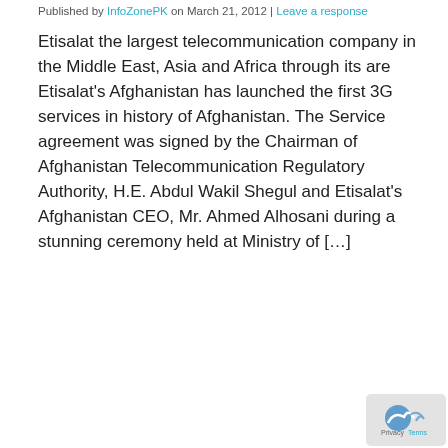Published by InfoZonePK on March 21, 2012 | Leave a response
Etisalat the largest telecommunication company in the Middle East, Asia and Africa through its are Etisalat's Afghanistan has launched the first 3G services in history of Afghanistan. The Service agreement was signed by the Chairman of Afghanistan Telecommunication Regulatory Authority, H.E. Abdul Wakil Shegul and Etisalat's Afghanistan CEO, Mr. Ahmed Alhosani during a stunning ceremony held at Ministry of […]
Read More
[Figure (photo): Etisalat company logo sign with Arabic text and etisalat branding]
Etisalat to Deduct $73 Million for Properties